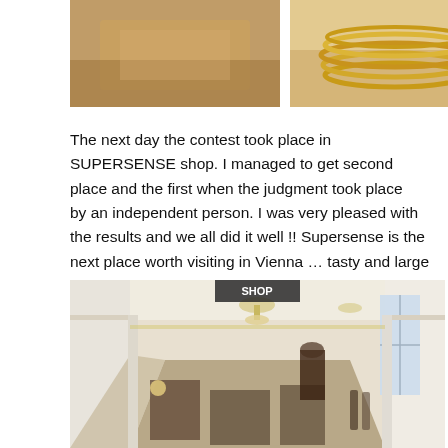[Figure (photo): Two photos at top: left shows a close-up of a textured surface (food/dough), right shows stacked gold rings or bracelets]
The next day the contest took place in SUPERSENSE shop. I managed to get second place and the first when the judgment took place by an independent person. I was very pleased with the results and we all did it well !! Supersense is the next place worth visiting in Vienna ... tasty and large breakfast and a shop in which you will find various models Polaroids, accessories, films etc.
[Figure (photo): Interior of the Supersense shop in Vienna — a long ornate hall with chandeliers, tall windows, white walls with decorative molding, and shelves/tables displaying various goods including bottles and equipment]